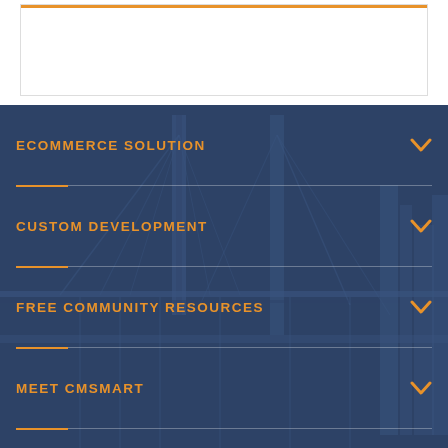[Figure (screenshot): White top section with a bordered box containing an orange top border line]
ECOMMERCE SOLUTION
CUSTOM DEVELOPMENT
FREE COMMUNITY RESOURCES
MEET CMSMART